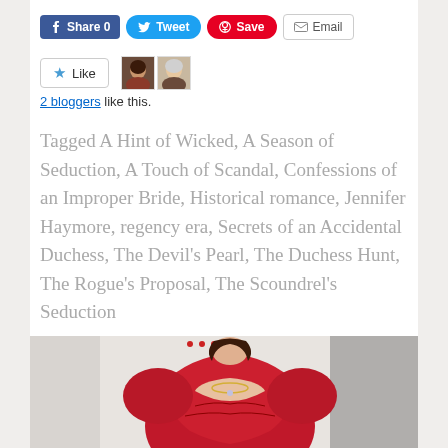[Figure (screenshot): Social share buttons row: Facebook Share 0, Tweet, Pinterest Save, Email]
[Figure (screenshot): Like button with star icon and two avatar thumbnails of bloggers]
2 bloggers like this.
Tagged A Hint of Wicked, A Season of Seduction, A Touch of Scandal, Confessions of an Improper Bride, Historical romance, Jennifer Haymore, regency era, Secrets of an Accidental Duchess, The Devil's Pearl, The Duchess Hunt, The Rogue's Proposal, The Scoundrel's Seduction
3 Comments
[Figure (photo): Partial photo of a woman in a red satin dress with puffed sleeves, wearing a necklace, viewed from chest up]